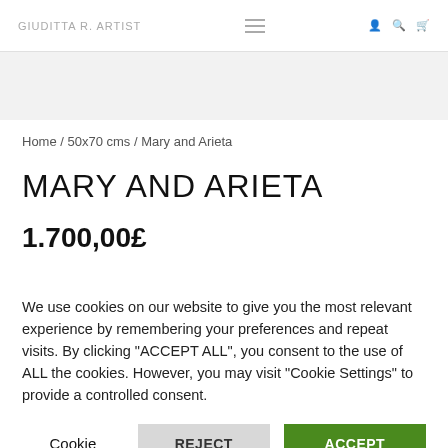GIUDITTA R. ARTIST
Home / 50x70 cms / Mary and Arieta
MARY AND ARIETA
1.700,00£
We use cookies on our website to give you the most relevant experience by remembering your preferences and repeat visits. By clicking "ACCEPT ALL", you consent to the use of ALL the cookies. However, you may visit "Cookie Settings" to provide a controlled consent.
Cookie Settings  REJECT ALL  ACCEPT ALL